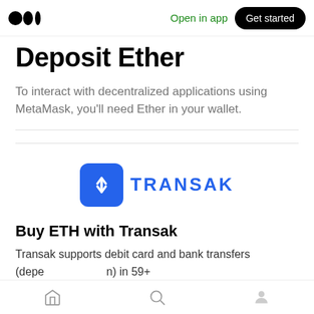Medium logo | Open in app | Get started
Deposit Ether
To interact with decentralized applications using MetaMask, you'll need Ether in your wallet.
[Figure (logo): Transak logo: blue rounded square icon with up/down arrows and TRANSAK text in blue]
Buy ETH with Transak
Transak supports debit card and bank transfers (depending on) in 59+ countries. ETH deposits into your MetaMask
Home | Search | Profile navigation icons